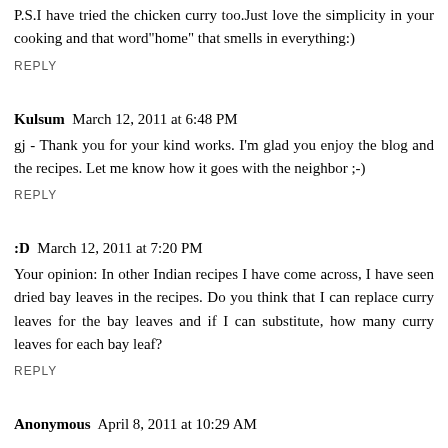type egg curry and viola!!!Thanks a ton
P.S.I have tried the chicken curry too.Just love the simplicity in your cooking and that word"home" that smells in everything:)
REPLY
Kulsum  March 12, 2011 at 6:48 PM
gj - Thank you for your kind works. I'm glad you enjoy the blog and the recipes. Let me know how it goes with the neighbor ;-)
REPLY
:D  March 12, 2011 at 7:20 PM
Your opinion: In other Indian recipes I have come across, I have seen dried bay leaves in the recipes. Do you think that I can replace curry leaves for the bay leaves and if I can substitute, how many curry leaves for each bay leaf?
REPLY
Anonymous  April 8, 2011 at 10:29 AM